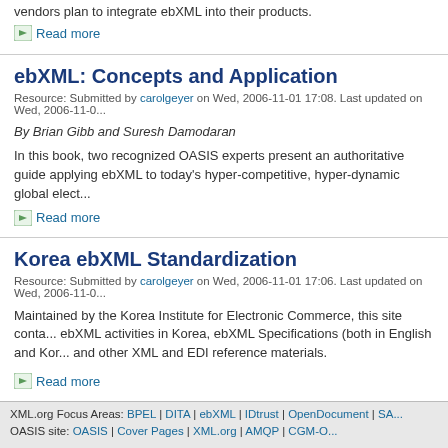vendors plan to integrate ebXML into their products.
Read more
ebXML: Concepts and Application
Resource: Submitted by carolgeyer on Wed, 2006-11-01 17:08. Last updated on Wed, 2006-11-0...
By Brian Gibb and Suresh Damodaran
In this book, two recognized OASIS experts present an authoritative guide applying ebXML to today's hyper-competitive, hyper-dynamic global elect...
Read more
Korea ebXML Standardization
Resource: Submitted by carolgeyer on Wed, 2006-11-01 17:06. Last updated on Wed, 2006-11-0...
Maintained by the Korea Institute for Electronic Commerce, this site conta... ebXML activities in Korea, ebXML Specifications (both in English and Kor... and other XML and EDI reference materials.
Read more
« first ‹ previous … 45 46 47 48 49 50 51 52 53
XML.org Focus Areas: BPEL | DITA | ebXML | IDtrust | OpenDocument | SA... OASIS site: OASIS | Cover Pages | XML.org | AMQP | CGM-O...